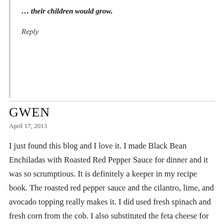…their children would grow.
Reply
GWEN
April 17, 2013
I just found this blog and I love it. I made Black Bean Enchiladas with Roasted Red Pepper Sauce for dinner and it was so scrumptious. It is definitely a keeper in my recipe book. The roasted red pepper sauce and the cilantro, lime, and avocado topping really makes it. I did used fresh spinach and fresh corn from the cob. I also substituted the feta cheese for jalapeno pepper jack. The same night I made the maple blueberry tea bread. The maple is what got me since I have been craving a maple donut from VooDoo